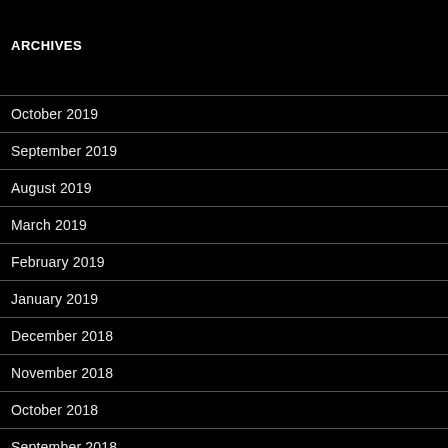ARCHIVES
October 2019
September 2019
August 2019
March 2019
February 2019
January 2019
December 2018
November 2018
October 2018
September 2018